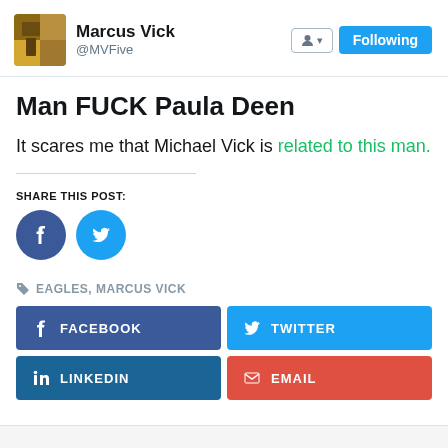[Figure (screenshot): Twitter profile header showing Marcus Vick @MVFive with avatar, person icon button, and Following button]
Man FUCK Paula Deen
It scares me that Michael Vick is related to this man.
SHARE THIS POST:
[Figure (illustration): Facebook and Twitter circular share icon buttons]
EAGLES, MARCUS VICK
[Figure (infographic): Four social share buttons: Facebook (dark blue), Twitter (light blue), LinkedIn (dark blue), Email (red)]